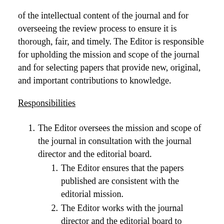of the intellectual content of the journal and for overseeing the review process to ensure it is thorough, fair, and timely. The Editor is responsible for upholding the mission and scope of the journal and for selecting papers that provide new, original, and important contributions to knowledge.
Responsibilities
The Editor oversees the mission and scope of the journal in consultation with the journal director and the editorial board.
The Editor ensures that the papers published are consistent with the editorial mission.
The Editor works with the journal director and the editorial board to determine if thematic issues should be published. The